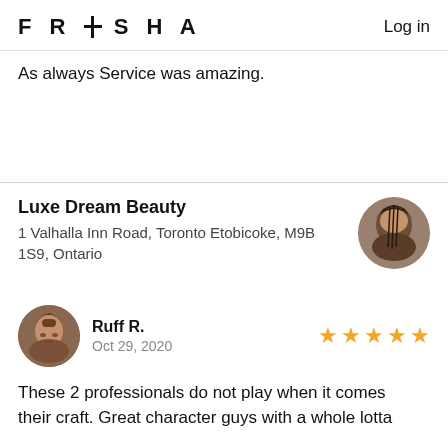FRESHA   Log in
As always Service was amazing.
Luxe Dream Beauty
1 Valhalla Inn Road, Toronto Etobicoke, M9B 1S9, Ontario
[Figure (photo): Circular profile photo of a person with braided hair, used as business avatar for Luxe Dream Beauty]
[Figure (photo): Circular profile photo of reviewer Ruff R., a smiling person]
Ruff R.
Oct 29, 2020
These 2 professionals do not play when it comes their craft. Great character guys with a whole lotta